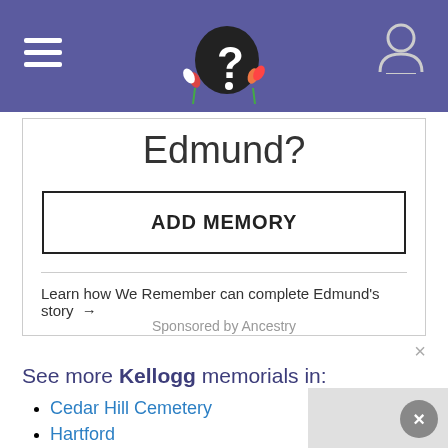Navigation header with hamburger menu, logo, and user icon
Edmund?
ADD MEMORY
Learn how We Remember can complete Edmund's story →
Sponsored by Ancestry
See more Kellogg memorials in:
Cedar Hill Cemetery
Hartford
Hartford County
Connecticut
USA